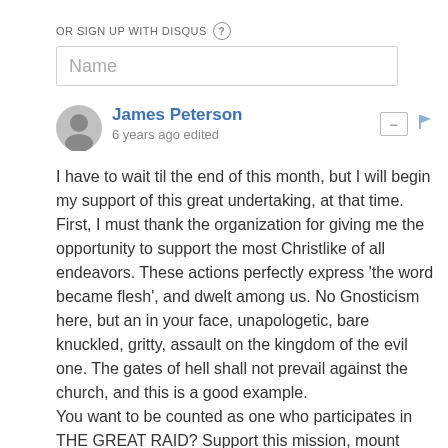OR SIGN UP WITH DISQUS ?
Name
James Peterson
6 years ago edited
I have to wait til the end of this month, but I will begin my support of this great undertaking, at that time.
First, I must thank the organization for giving me the opportunity to support the most Christlike of all endeavors. These actions perfectly express 'the word became flesh', and dwelt among us. No Gnosticism here, but an in your face, unapologetic, bare knuckled, gritty, assault on the kingdom of the evil one. The gates of hell shall not prevail against the church, and this is a good example.
You want to be counted as one who participates in THE GREAT RAID? Support this mission, mount your white horse, follow our Lord on horseback, with the double edged sword of truth coming out of His mouth. Be counted as one of the armies of heaven. Saddle Up!